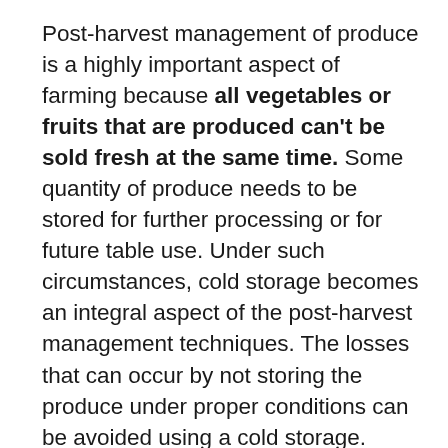Post-harvest management of produce is a highly important aspect of farming because all vegetables or fruits that are produced can't be sold fresh at the same time. Some quantity of produce needs to be stored for further processing or for future table use. Under such circumstances, cold storage becomes an integral aspect of the post-harvest management techniques. The losses that can occur by not storing the produce under proper conditions can be avoided using a cold storage. Storing farmed products enhances their shelf life and also facilitates continuous supply of produce in the market. The cold storage method stabilizes the price of the product, provides equal distribution and regulation of the product. It is being...